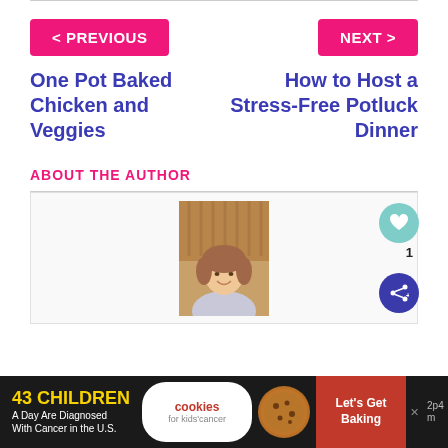< PREVIOUS
NEXT >
One Pot Baked Chicken and Veggies
How to Host a Stress-Free Potluck Dinner
ABOUT THE AUTHOR
[Figure (photo): Author headshot - woman with curly hair smiling, seated outdoors]
43 CHILDREN A Day Are Diagnosed With Cancer in the U.S.
cookies for kids' cancer Let's Get Baking